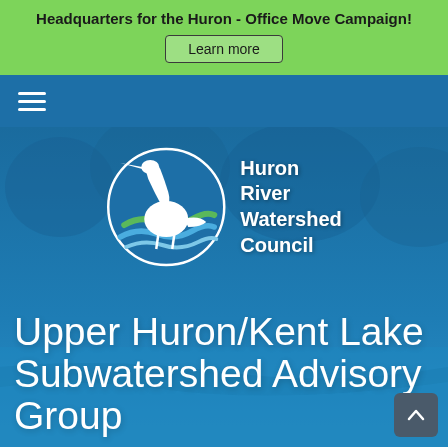Headquarters for the Huron - Office Move Campaign!
Learn more
[Figure (logo): Huron River Watershed Council logo with heron bird inside a circle with blue and green waves, followed by text 'Huron River Watershed Council' in white]
Upper Huron/Kent Lake Subwatershed Advisory Group